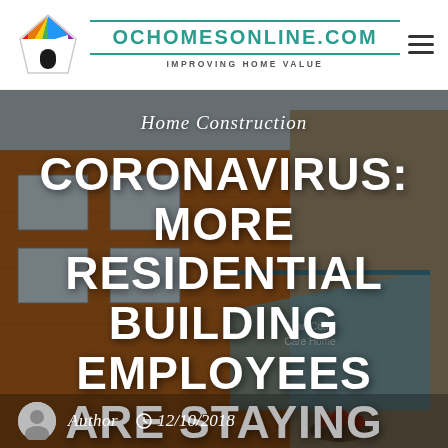[Figure (logo): OC Homes Online colorful house logo icon]
OCHOMESONLINE.COM
IMPROVING HOME VALUE
[Figure (photo): Exterior photo of a residential brick building with glass entrance canopy]
Home Construction
CORONAVIRUS: MORE RESIDENTIAL BUILDING EMPLOYEES ARE STAYING HOME
Author  12/10/2018